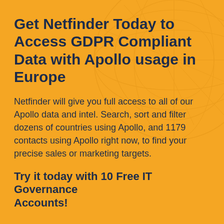Get Netfinder Today to Access GDPR Compliant Data with Apollo usage in Europe
Netfinder will give you full access to all of our Apollo data and intel. Search, sort and filter dozens of countries using Apollo, and 1179 contacts using Apollo right now, to find your precise sales or marketing targets.
Try it today with 10 Free IT Governance Accounts!